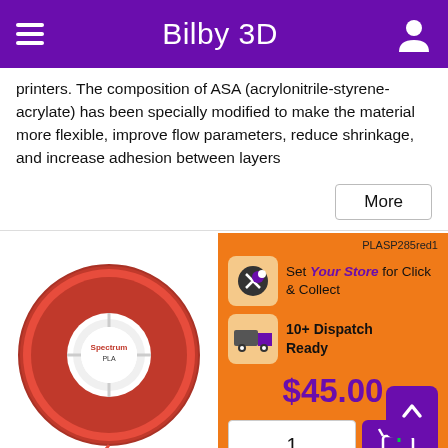Bilby 3D
printers. The composition of ASA (acrylonitrile-styrene-acrylate) has been specially modified to make the material more flexible, improve flow parameters, reduce shrinkage, and increase adhesion between layers
[Figure (screenshot): Red filament spool product image]
PLASP285red1
Set Your Store for Click & Collect
10+ Dispatch Ready
$45.00
1
Spectrum PLA - Blood Red - 2.85mm - 1kg Spool
Spectrum Premium PLA yields excellent surface quality and detail, producing reliable results. Items printed with Spectrum PLA demonstrate extremely high aesthetic properties due to the layer cohesion even at large inclination angles of item surfaces.
Scan in the unique QR code on each spool to view data on the laser